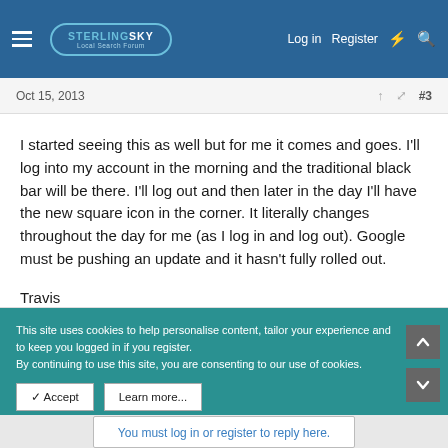Sterling Sky Local Search Forum — Log in  Register
Oct 15, 2013   #3
I started seeing this as well but for me it comes and goes. I'll log into my account in the morning and the traditional black bar will be there. I'll log out and then later in the day I'll have the new square icon in the corner. It literally changes throughout the day for me (as I log in and log out). Google must be pushing an update and it hasn't fully rolled out.

Travis
You must log in or register to reply here.
This site uses cookies to help personalise content, tailor your experience and to keep you logged in if you register.
By continuing to use this site, you are consenting to our use of cookies.
✓ Accept   Learn more...